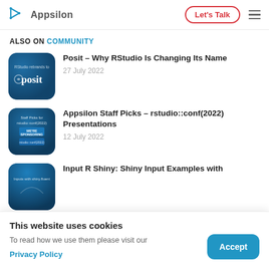Appsilon | Let's Talk
ALSO ON COMMUNITY
Posit – Why RStudio Is Changing Its Name
27 July 2022
Appsilon Staff Picks – rstudio::conf(2022) Presentations
12 July 2022
Input R Shiny: Shiny Input Examples with
This website uses cookies
To read how we use them please visit our
Privacy Policy